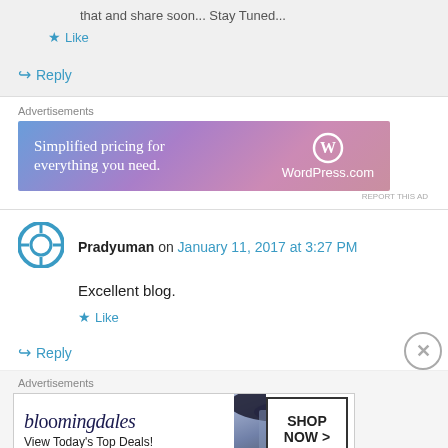that and share soon... Stay Tuned...
Like
Reply
Advertisements
[Figure (other): WordPress.com advertisement banner: 'Simplified pricing for everything you need.' with WordPress logo]
REPORT THIS AD
Pradyuman on January 11, 2017 at 3:27 PM
Excellent blog.
Like
Reply
Advertisements
[Figure (other): Bloomingdales advertisement: 'View Today's Top Deals!' with SHOP NOW button and model with hat]